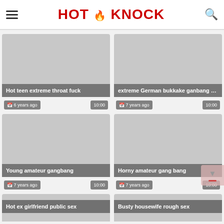HOT KNOCK
[Figure (screenshot): Video thumbnail placeholder – gray rectangle]
Hot teen extreme throat fuck
6 years ago  10:00
[Figure (screenshot): Video thumbnail placeholder – gray rectangle]
extreme German bukkake ganbang fuc...
7 years ago  10:00
[Figure (screenshot): Video thumbnail placeholder – gray rectangle]
Young amateur gangbang
7 years ago  10:00
[Figure (screenshot): Video thumbnail placeholder – gray rectangle]
Horny amateur gang bang
7 years ago  10:00
[Figure (screenshot): Video thumbnail placeholder – gray rectangle]
Hot ex girlfriend public sex
[Figure (screenshot): Video thumbnail placeholder – gray rectangle]
Busty housewife rough sex